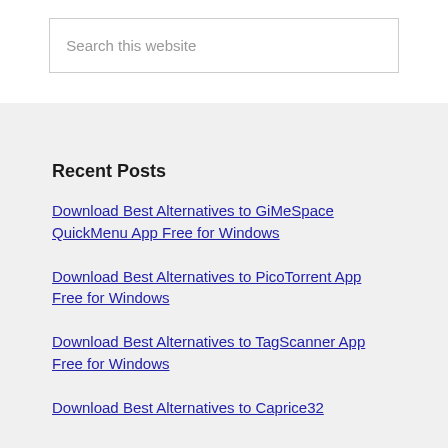Search this website
Recent Posts
Download Best Alternatives to GiMeSpace QuickMenu App Free for Windows
Download Best Alternatives to PicoTorrent App Free for Windows
Download Best Alternatives to TagScanner App Free for Windows
Download Best Alternatives to Caprice32